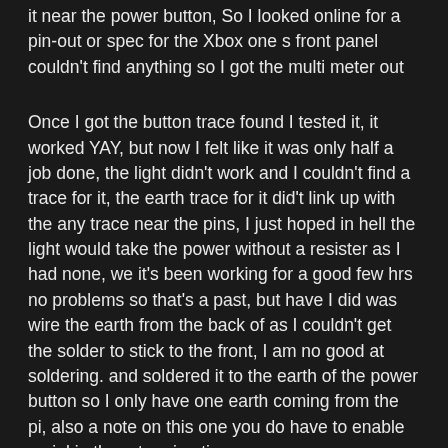it near the power button, So I looked online for a pin-out or spec for the Xbox one s front panel couldn't find anything so I got the multi meter out
Once I got the button trace found I tested it, it worked YAY, but now I felt like it was only half a job done, the light didn't work and I couldn't find a trace for it, the earth trace for it did't link up with the any trace near the pins, I just hoped in hell the light would take the power without a resister as I had none, we it's been working for a good few hrs no problems so that's a past, but have I did was wire the earth from the back of as I couldn't get the solder to stick to the front, I am no good at soldering. and soldered it to the earth of the power button so I only have one earth coming from the pi, also a note on this one you do have to enable serial in the retro pi options.
Then once all that was working it was time to put it back together, like I said before it already has room to support